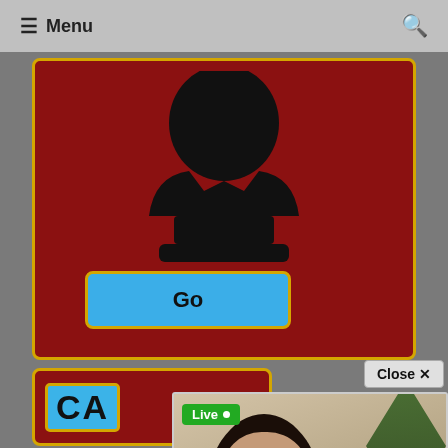≡ Menu
[Figure (screenshot): Red card with black person silhouette/avatar icon on dark red background with gold border]
Go
[Figure (screenshot): Second red card with blue badge showing 'CA' text]
Close ✕
[Figure (photo): Live webcam stream popup showing a young woman with dark hair in a plaid top, sitting in a room with plants. Green 'Live' badge in top left. Bottom bar shows: miss_kaira, 24 yo, Female, 'oy that vibrates with your Tips #Lovense #Ohmib...']